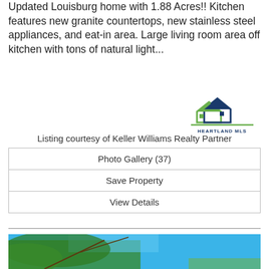Updated Louisburg home with 1.88 Acres!! Kitchen features new granite countertops, new stainless steel appliances, and eat-in area. Large living room area off kitchen with tons of natural light...
[Figure (logo): Heartland MLS logo — two house roof outlines in green and dark blue with 'HEARTLAND MLS' text below]
Listing courtesy of Keller Williams Realty Partner
| Photo Gallery (37) |
| Save Property |
| View Details |
[Figure (photo): Outdoor photo showing tree branches with green leaves against a bright blue sky, with a property in the background]